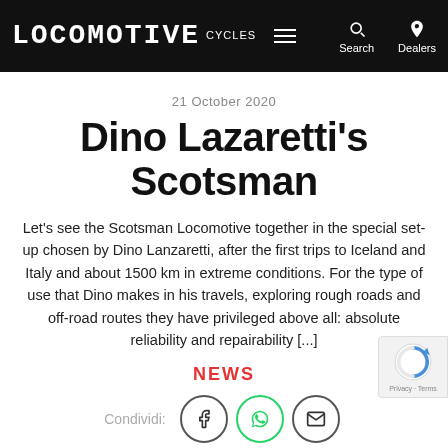LOCOMOTIVE Cycles — Search | Dealers
21 October 2020
Dino Lazaretti's Scotsman
Let's see the Scotsman Locomotive together in the special set-up chosen by Dino Lanzaretti, after the first trips to Iceland and Italy and about 1500 km in extreme conditions. For the type of use that Dino makes in his travels, exploring rough roads and off-road routes they have privileged above all: absolute reliability and repairability [...]
NEWS
Condividi: